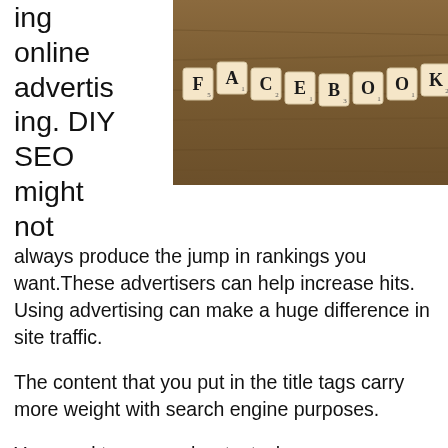ing online advertising. DIY SEO might not
[Figure (photo): Photo of Scrabble tiles spelling FACEBOOK on a wooden surface]
always produce the jump in rankings you want. These advertisers can help increase hits. Using advertising can make a huge difference in site traffic.
The content that you put in the title tags carry more weight with search engine purposes.
You need to use anchor text when you are setting up the interlinks on your site. There are certain words to be avoided that you shouldn't use because they will not help search engines navigate your site. Learn about what words to use with the help of many websites